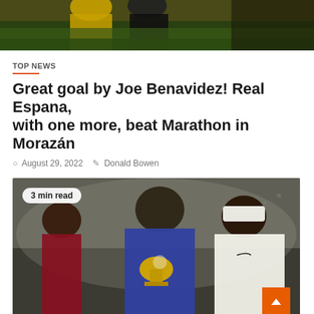[Figure (photo): Partial top photo of athletes in yellow/black jerseys on green field, cropped at top]
TOP NEWS
Great goal by Joe Benavidez! Real Espana, with one more, beat Marathon in Morazán
August 29, 2022   Donald Bowen
[Figure (photo): Soccer player in blue France jersey holding gold World Cup trophy, celebrating with family members]
3 min read
TOP NEWS